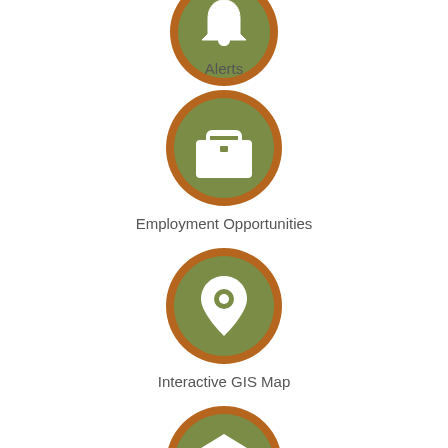[Figure (infographic): Circular icon for Alerts (partially visible at top) with orange border and olive green fill]
Alerts
[Figure (infographic): Circular icon for Employment Opportunities with orange border, olive green fill, and white briefcase icon]
Employment Opportunities
[Figure (infographic): Circular icon for Interactive GIS Map with orange border, olive green fill, and white map pin/location icon]
Interactive GIS Map
[Figure (infographic): Circular icon for a fourth menu item (partially visible at bottom) with orange border, olive green fill, and white building/institution icon]